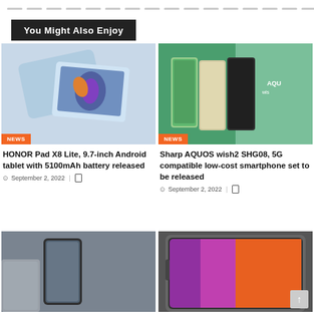navigation dots row
You Might Also Enjoy
[Figure (photo): HONOR Pad X8 Lite Android tablet in light blue color shown from back and front angles]
NEWS
HONOR Pad X8 Lite, 9.7-inch Android tablet with 5100mAh battery released
September 2, 2022
[Figure (photo): Sharp AQUOS wish2 SHG08 smartphones shown in multiple colors on green background with AQUOS wish2 text]
NEWS
Sharp AQUOS wish2 SHG08, 5G compatible low-cost smartphone set to be released
September 2, 2022
[Figure (photo): Smartphone shown on gray background, partially cut off at bottom]
[Figure (photo): Tablet device with colorful screen shown, partially cut off at bottom]